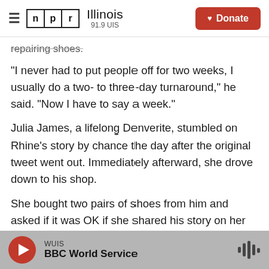NPR Illinois 91.9 UIS | Donate
repairing shoes.
"I never had to put people off for two weeks, I usually do a two- to three-day turnaround," he said. "Now I have to say a week."
Julia James, a lifelong Denverite, stumbled on Rhine's story by chance the day after the original tweet went out. Immediately afterward, she drove down to his shop.
She bought two pairs of shoes from him and asked if it was OK if she shared his story on her Facebook page and started another fundraiser. She now
WUIS | BBC World Service